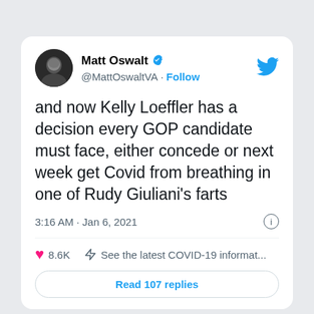[Figure (screenshot): Screenshot of a tweet by Matt Oswalt (@MattOswaltVA) with verified badge and Follow button. Tweet text: 'and now Kelly Loeffler has a decision every GOP candidate must face, either concede or next week get Covid from breathing in one of Rudy Giuliani's farts'. Timestamp: 3:16 AM · Jan 6, 2021. 8.6K likes. COVID-19 information link. Read 107 replies button.]